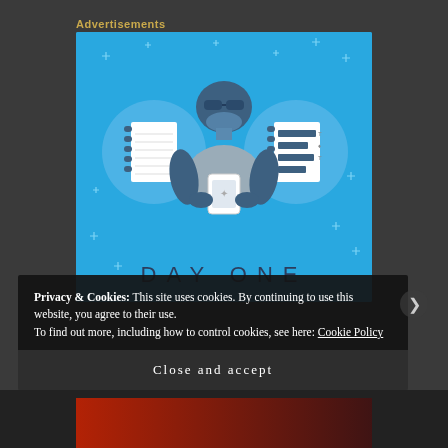Advertisements
[Figure (illustration): Day One app advertisement showing a cartoon person holding a phone, flanked by two notebook icons on a blue background with sparkle decorations and the text DAY ONE at the bottom]
Privacy & Cookies: This site uses cookies. By continuing to use this website, you agree to their use.
To find out more, including how to control cookies, see here: Cookie Policy
Close and accept